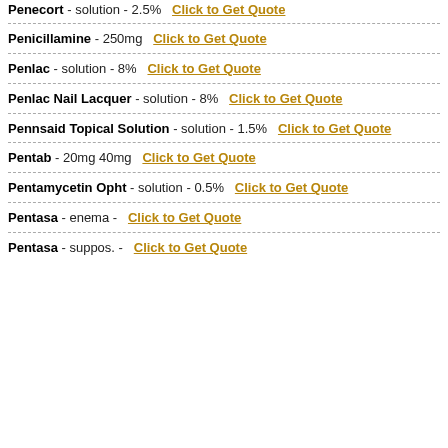Penecort - solution - 2.5% Click to Get Quote
Penicillamine - 250mg Click to Get Quote
Penlac - solution - 8% Click to Get Quote
Penlac Nail Lacquer - solution - 8% Click to Get Quote
Pennsaid Topical Solution - solution - 1.5% Click to Get Quote
Pentab - 20mg 40mg Click to Get Quote
Pentamycetin Opht - solution - 0.5% Click to Get Quote
Pentasa - enema - Click to Get Quote
Pentasa - suppos. - Click to Get Quote